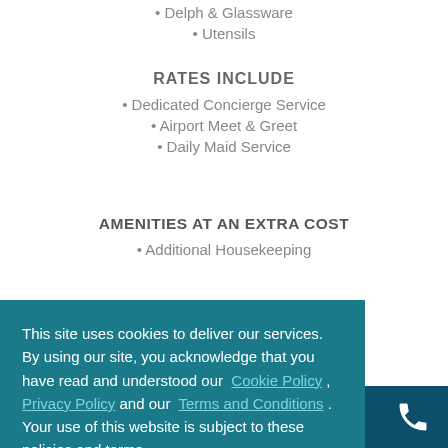• Delph & Glassware
• Utensils
RATES INCLUDE
• Dedicated Concierge Service
• Airport Meet & Greet
• Daily Maid Service
AMENITIES AT AN EXTRA COST
• Additional Housekeeping
This site uses cookies to deliver our services. By using our site, you acknowledge that you have read and understood our Cookie Policy , Privacy Policy and our Terms and Conditions . Your use of this website is subject to these policies and terms.
Got it!